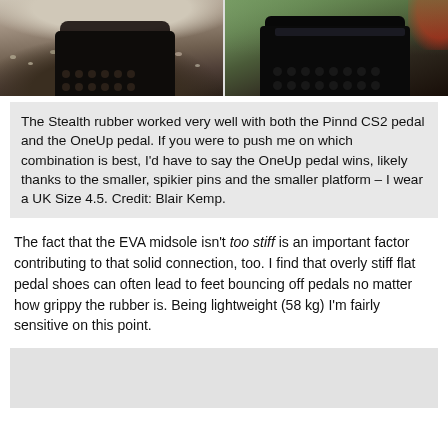[Figure (photo): Two side-by-side close-up photos of mountain bike shoe soles on pedals. Left image shows a shoe on a pedal over gravel. Right image shows a shoe on a dark pedal with a blurred green/red background.]
The Stealth rubber worked very well with both the Pinnd CS2 pedal and the OneUp pedal. If you were to push me on which combination is best, I'd have to say the OneUp pedal wins, likely thanks to the smaller, spikier pins and the smaller platform – I wear a UK Size 4.5. Credit: Blair Kemp.
The fact that the EVA midsole isn't too stiff is an important factor contributing to that solid connection, too. I find that overly stiff flat pedal shoes can often lead to feet bouncing off pedals no matter how grippy the rubber is. Being lightweight (58 kg) I'm fairly sensitive on this point.
[Figure (photo): Partial view of a photo at the bottom of the page, mostly cropped/cut off, showing a light grey area.]